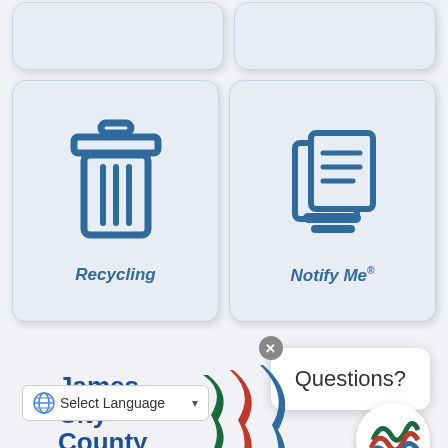[Figure (screenshot): Two partial cards at top of page (cut off), part of a grid of service buttons for James City County Virginia government website]
[Figure (illustration): Recycling card button with trash/recycling bin icon in blue and label 'Recycling' in bold italic blue]
[Figure (illustration): Notify Me card button with document/notification icon in blue and label 'Notify Me®' in bold italic blue]
[Figure (screenshot): Questions? popup chat widget in bottom right with close X button, and James City County circular avatar logo below it]
[Figure (logo): James City County Virginia logo with colorful wave/flag graphic, partially visible in bottom center]
[Figure (screenshot): Google Translate 'Select Language' dropdown widget in bottom left]